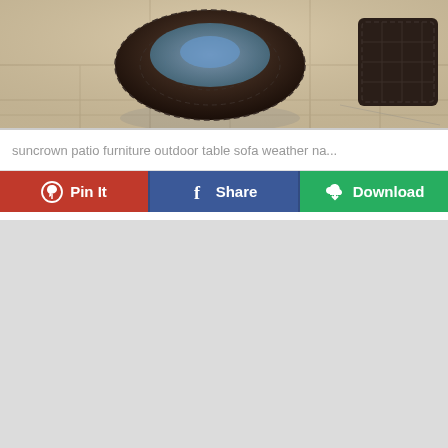[Figure (photo): Aerial/overhead view of dark wicker patio furniture set including a round coffee table and side chair on light-colored tile patio]
suncrown patio furniture outdoor table sofa weather na...
[Figure (infographic): Three action buttons: Pin It (red, Pinterest icon), Share (blue, Facebook icon), Download (green, cloud/download icon)]
[Figure (other): Grey placeholder/loading area]